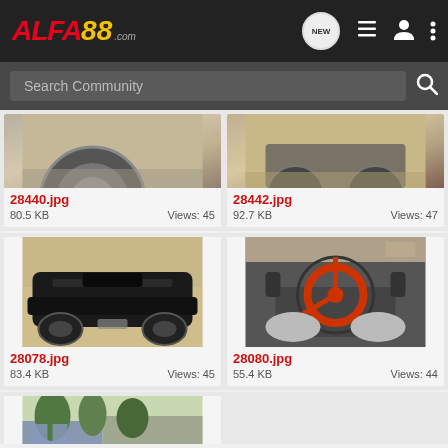ALFA88.com
Search Community
[Figure (photo): Partial view of a car wheel on pavement — 28440.jpg, 80.5 KB, Views: 45]
[Figure (photo): Partial view of a car rear on pavement — 28442.jpg, 92.7 KB, Views: 47]
[Figure (photo): Black convertible car rear view — 28078.jpg, 83.4 KB, Views: 45]
[Figure (photo): Car interior top-down view with red steering wheel — 28080.jpg, 55.4 KB, Views: 44]
[Figure (photo): Partial view of a house with trees — bottom of page]